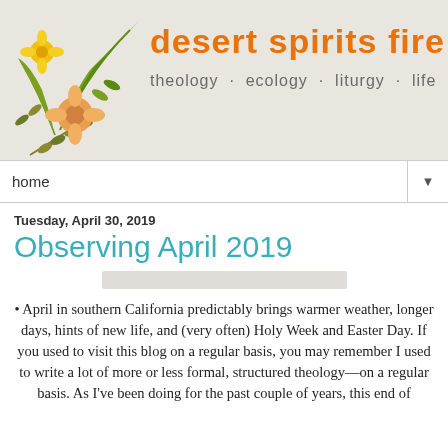[Figure (illustration): Blog header banner with floral illustration (yellow flowers, green palm leaves, olive branch leaves) on the left and orange bold text 'desert spirits fire!' with subtitle 'theology · ecology · liturgy · life' on the right, on a light beige/grey textured background.]
home ▼
Tuesday, April 30, 2019
Observing April 2019
[Figure (other): A light grey horizontal bar/placeholder image]
April in southern California predictably brings warmer weather, longer days, hints of new life, and (very often) Holy Week and Easter Day. If you used to visit this blog on a regular basis, you may remember I used to write a lot of more or less formal, structured theology—on a regular basis. As I've been doing for the past couple of years, this end of